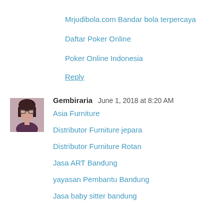Mrjudibola.com Bandar bola terpercaya
Daftar Poker Online
Poker Online Indonesia
Reply
[Figure (photo): Avatar photo of commenter Gembiraria, a woman with glasses]
Gembiraria  June 1, 2018 at 8:20 AM
Asia Furniture
Distributor Furniture jepara
Distributor Furniture Rotan
Jasa ART Bandung
yayasan Pembantu Bandung
Jasa baby sitter bandung